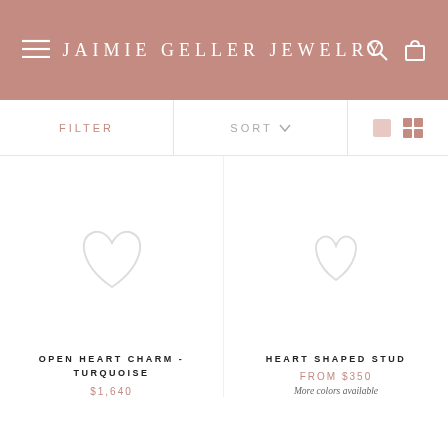JAIMIE GELLER JEWELRY
FILTER
SORT
OPEN HEART CHARM - TURQUOISE
$1,640
HEART SHAPED STUD
FROM $350
More colors available